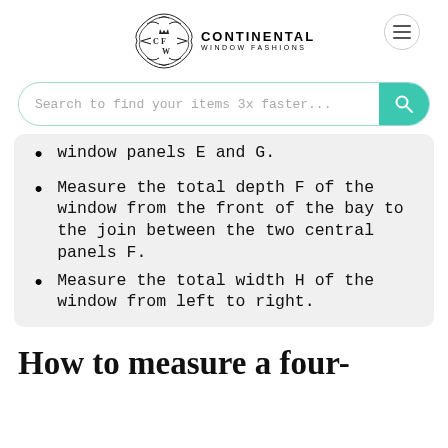[Figure (logo): Continental Window Fashions logo with decorative emblem and text]
Search to find your items 3x faster...
window panels E and G.
Measure the total depth F of the window from the front of the bay to the join between the two central panels F.
Measure the total width H of the window from left to right.
How to measure a four-